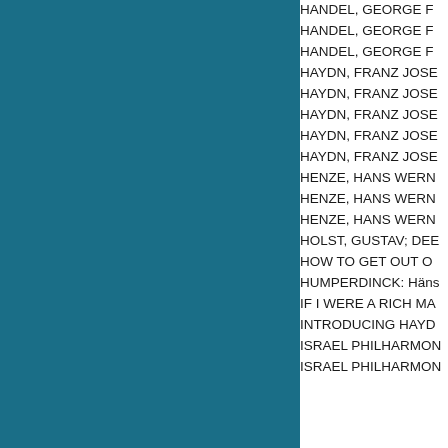[Figure (other): Teal/dark cyan colored rectangular block occupying the left portion of the page]
HANDEL, GEORGE F...
HANDEL, GEORGE F...
HANDEL, GEORGE F...
HAYDN, FRANZ JOSE...
HAYDN, FRANZ JOSE...
HAYDN, FRANZ JOSE...
HAYDN, FRANZ JOSE...
HAYDN, FRANZ JOSE...
HENZE, HANS WERN...
HENZE, HANS WERN...
HENZE, HANS WERN...
HOLST, GUSTAV; DEE...
HOW TO GET OUT O...
HUMPERDINCK: Häns...
IF I WERE A RICH MA...
INTRODUCING HAYD...
ISRAEL PHILHARMON...
ISRAEL PHILHARMON...